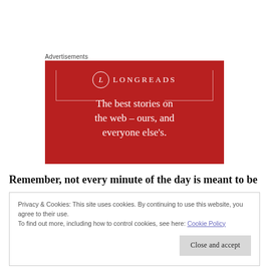Advertisements
[Figure (illustration): Longreads advertisement banner on red background with logo circle containing 'L', brand name 'LONGREADS', and tagline 'The best stories on the web – ours, and everyone else's.']
Remember, not every minute of the day is meant to be
Privacy & Cookies: This site uses cookies. By continuing to use this website, you agree to their use.
To find out more, including how to control cookies, see here: Cookie Policy
Close and accept